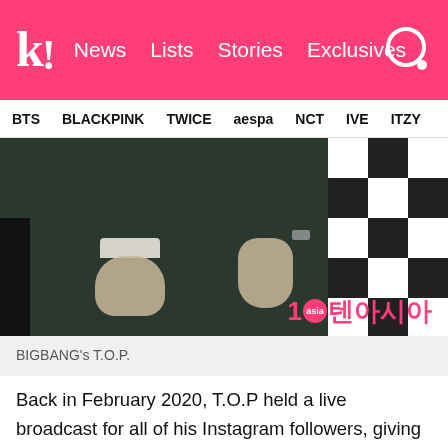K! News Lists Stories Exclusives
BTS BLACKPINK TWICE aespa NCT IVE ITZY
[Figure (photo): Close-up photo of BIGBANG's T.O.P. from the waist down, wearing a dark suit, standing in front of a black and white checkered background. A 10asia (10아시아) watermark is visible in the bottom right.]
BIGBANG's T.O.P.
Back in February 2020, T.O.P held a live broadcast for all of his Instagram followers, giving an update on his then-current life. Donning a much longer hairstyle, he revealed that he has always "wanted to show this side" of